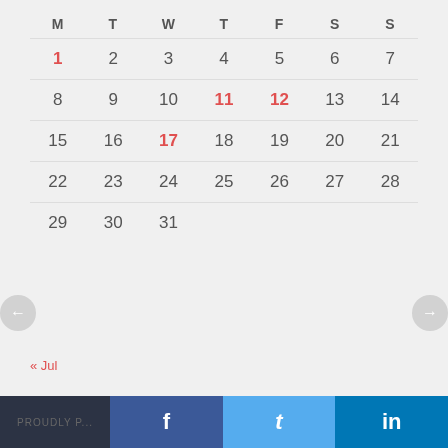| M | T | W | T | F | S | S |
| --- | --- | --- | --- | --- | --- | --- |
| 1 | 2 | 3 | 4 | 5 | 6 | 7 |
| 8 | 9 | 10 | 11 | 12 | 13 | 14 |
| 15 | 16 | 17 | 18 | 19 | 20 | 21 |
| 22 | 23 | 24 | 25 | 26 | 27 | 28 |
| 29 | 30 | 31 |  |  |  |  |
« Jul
HOME ~ PRIVACY POLICY
PROUDLY P...  f  t  in